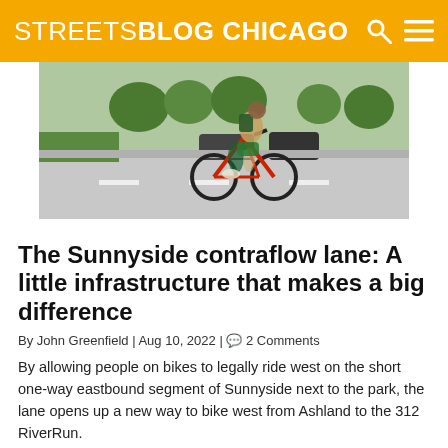STREETSBLOG CHICAGO
[Figure (photo): Person riding a red bicycle on a city street, blurred motion, green trees and parked cars in background]
The Sunnyside contraflow lane: A little infrastructure that makes a big difference
By John Greenfield | Aug 10, 2022 | 2 Comments
By allowing people on bikes to legally ride west on the short one-way eastbound segment of Sunnyside next to the park, the lane opens up a new way to bike west from Ashland to the 312 RiverRun.
[Figure (photo): Night scene with police lights visible, dark urban setting]